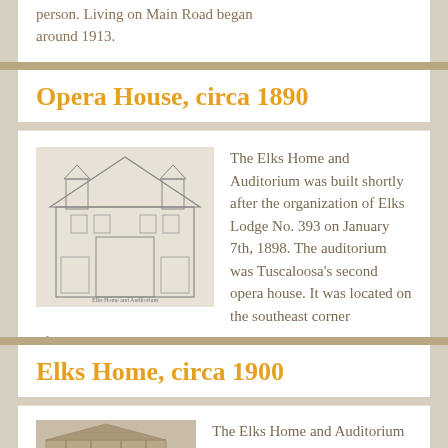person. Living on Main Road began around 1913.
Opera House, circa 1890
[Figure (illustration): Black and white sketch of the Elks Home and Auditorium building, a multi-story ornate structure]
The Elks Home and Auditorium was built shortly after the organization of Elks Lodge No. 393 on January 7th, 1898. The auditorium was Tuscaloosa's second opera house. It was located on the southeast corner of 6th Street and 22nd Avenue. In the 1920s…
Elks Home, circa 1900
[Figure (photo): Sepia photograph of the Elks Home and Auditorium building]
The Elks Home and Auditorium was built shortly after the organization of Elks